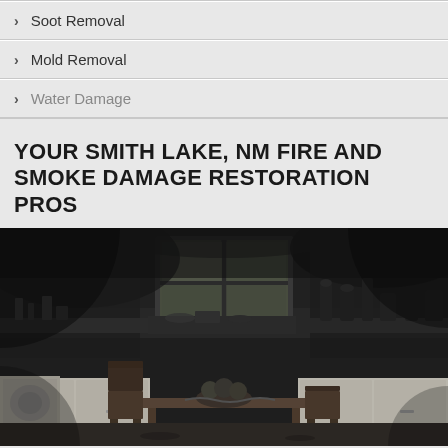Soot Removal
Mold Removal
Water Damage
YOUR SMITH LAKE, NM FIRE AND SMOKE DAMAGE RESTORATION PROS
[Figure (photo): Black and white photograph of a fire-damaged kitchen interior showing charred walls, smoke damage, a dining table with chairs, kitchen cabinets, and debris scattered on countertops and floor]